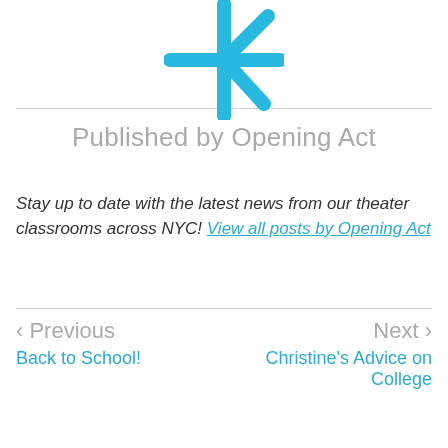[Figure (illustration): Blue asterisk / snowflake-style logo icon centered at top of page]
Published by Opening Act
Stay up to date with the latest news from our theater classrooms across NYC! View all posts by Opening Act
< Previous
Back to School!
Next >
Christine's Advice on College